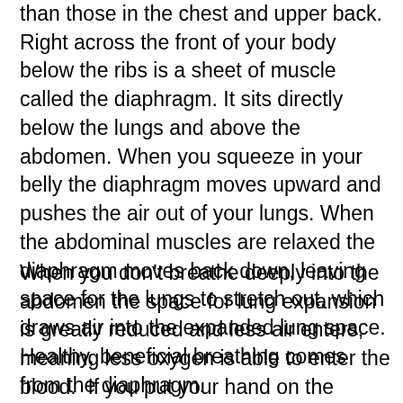than those in the chest and upper back. Right across the front of your body below the ribs is a sheet of muscle called the diaphragm. It sits directly below the lungs and above the abdomen. When you squeeze in your belly the diaphragm moves upward and pushes the air out of your lungs. When the abdominal muscles are relaxed the diaphragm moves back down, leaving space for the lungs to stretch out, which draws air into the expanded lung space. Healthy, beneficial breathing comes from the diaphragm.
When you don't breathe deeply into the abdomen the space for lung expansion is greatly reduced and less air enters, meaning less oxygen is able to enter the blood.  If you put your hand on the bottom of your ribs and take a deep breath right now you will feel your hand rise and fall. That is because the diaphragm is doing its job, rising and falling to push air out of the lungs and let air flow back in. If you are breathing deep you should also see...